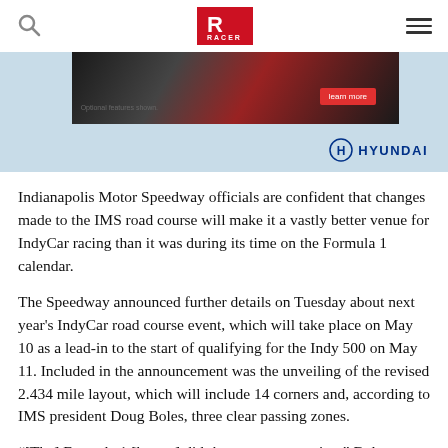RACER logo, search icon, menu icon
[Figure (photo): Hyundai advertisement banner showing a car with 'Optional features shown.' text, a red 'learn more' button, and the Hyundai logo on a light blue background]
Indianapolis Motor Speedway officials are confident that changes made to the IMS road course will make it a vastly better venue for IndyCar racing than it was during its time on the Formula 1 calendar.
The Speedway announced further details on Tuesday about next year's IndyCar road course event, which will take place on May 10 as a lead-in to the start of qualifying for the Indy 500 on May 11. Included in the announcement was the unveiling of the revised 2.434 mile layout, which will include 14 corners and, according to IMS president Doug Boles, three clear passing zones.
“[The] Formula 1 [layout] didn’t encourage passing,” Boles